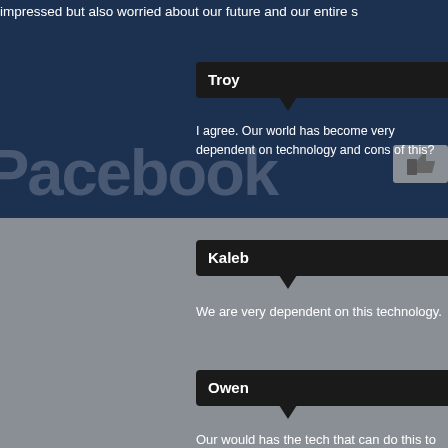impressed but also worried about our future and our entire s
Troy
I agree. Our world has become very dependent on technology and cons of this?
Kaleb
We are very dependent on this technology.
Owen
Our would has the tech that can do this to use if we let it.